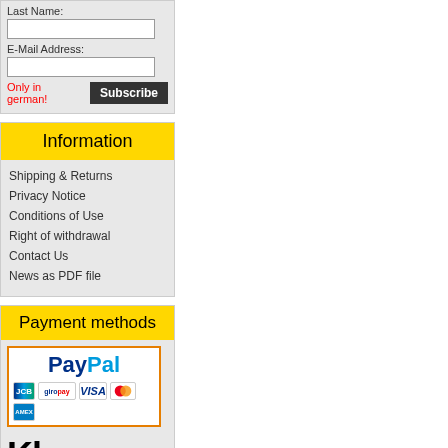Last Name:
E-Mail Address:
Only in german!
Information
Shipping & Returns
Privacy Notice
Conditions of Use
Right of withdrawal
Contact Us
News as PDF file
Payment methods
[Figure (logo): PayPal logo with payment card icons: JCB, giropay, VISA, Mastercard, American Express]
[Figure (logo): Klarna logo in black bold text]
[Figure (logo): SSL Datensicherheit badge - Ihre Daten sind bei uns SSL-Verschlüsselt!]